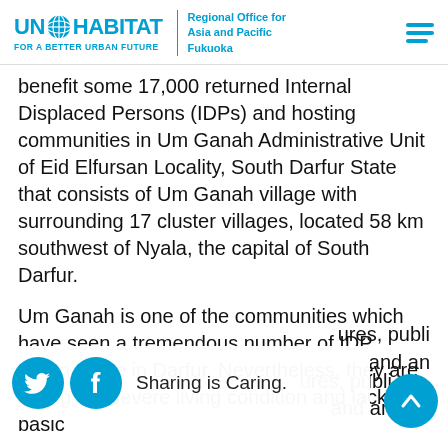UN-HABITAT FOR A BETTER URBAN FUTURE | Regional Office for Asia and Pacific Fukuoka
benefit some 17,000 returned Internal Displaced Persons (IDPs) and hosting communities in Um Ganah Administrative Unit of Eid Elfursan Locality, South Darfur State that consists of Um Ganah village with surrounding 17 cluster villages, located 58 km southwest of Nyala, the capital of South Darfur.
Um Ganah is one of the communities which have seen a tremendous number of IDP return home in Darfur. Nevertheless, they are facing the severe living condition and lack of basic ...ures, public ...and an...
Sharing is Caring.